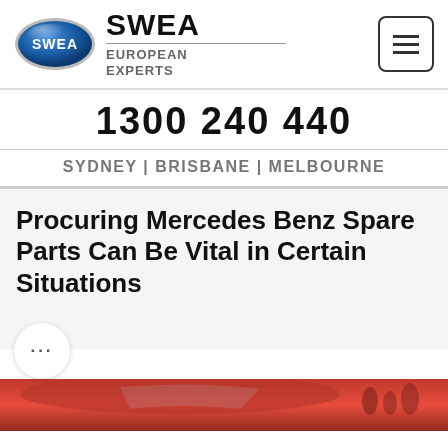[Figure (logo): SWEA European Experts logo with oval blue badge and brand name]
1300 240 440
SYDNEY | BRISBANE | MELBOURNE
Procuring Mercedes Benz Spare Parts Can Be Vital in Certain Situations
[Figure (photo): Partial view of a red car at the bottom of the page]